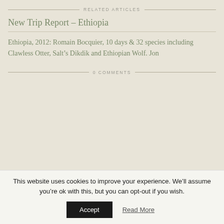RELATED ARTICLES
New Trip Report – Ethiopia
Ethiopia, 2012: Romain Bocquier, 10 days & 32 species including Clawless Otter, Salt's Dikdik and Ethiopian Wolf. Jon
0 COMMENTS
This website uses cookies to improve your experience. We'll assume you're ok with this, but you can opt-out if you wish.
Accept    Read More